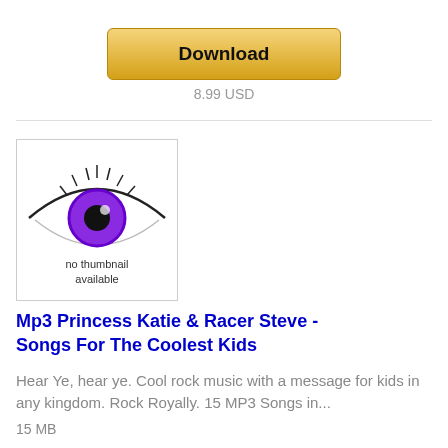[Figure (other): Download button — a gold/yellow rounded rectangle button with the label 'Download']
8.99 USD
[Figure (photo): Album thumbnail showing a purple eye with 'no thumbnail available' text overlay]
Mp3 Princess Katie & Racer Steve - Songs For The Coolest Kids
Hear Ye, hear ye. Cool rock music with a message for kids in any kingdom. Rock Royally. 15 MP3 Songs in...
15 MB